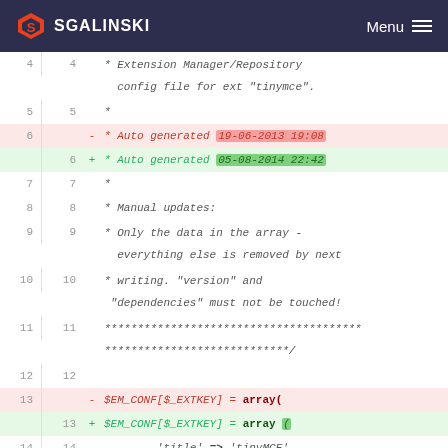SGALINSKI Menu
4  4     * Extension Manager/Repository config file for ext "tinymce".
5  5     *
6     -  * Auto generated 19-06-2013 19:08
6  +  * Auto generated 05-08-2014 22:42
7  7     *
8  8     * Manual updates:
9  9     * Only the data in the array - everything else is removed by next
10 10    * writing. "version" and "dependencies" must not be touched!
11 11    *************************************** ***************************/
12 12
13    -  $EM_CONF[$_EXTKEY] = array(
13 +  $EM_CONF[$_EXTKEY] = array (
14 14    'title' => 'tinyMCE',
15    -  'description' => 'tinymce sources with compressor and